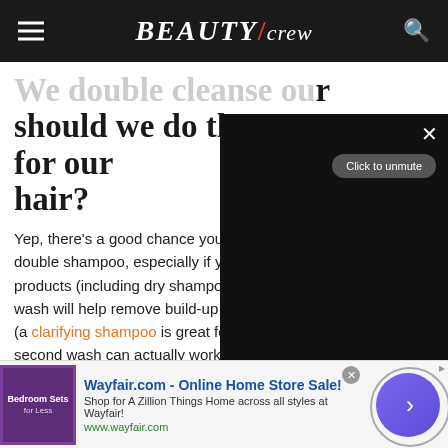BEAUTY/crew
We double cleanse our skin — should we do the same for our hair?
Yep, there's a good chance your hair could benefit from a double shampoo, especially if you use a lot of products (including dry shampoo). The first wash will help remove build-up of oils and product (a clarifying shampoo is great for this), and your second wash can actually work on your hair needs. For this shampoo, opt for a formula that caters to your needs, such as a hydrating shamp…
[Figure (screenshot): Video overlay with dark background, X close button, 'Click to unmute' button, and pause button at bottom]
[Figure (screenshot): Advertisement banner for Wayfair.com - Online Home Store Sale with purple bedroom furniture image and arrow button]